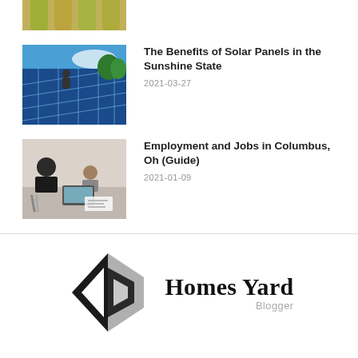[Figure (photo): Partial view of bottles (cropped top image)]
[Figure (photo): Workers installing solar panels on a roof with blue sky and green trees]
The Benefits of Solar Panels in the Sunshine State
2021-03-27
[Figure (photo): Business people working together at a desk with laptops and documents]
Employment and Jobs in Columbus, Oh (Guide)
2021-01-09
[Figure (logo): Homes Yard Blogger logo — geometric diamond arrow shape in black and grey with text Homes Yard and Blogger]
Home